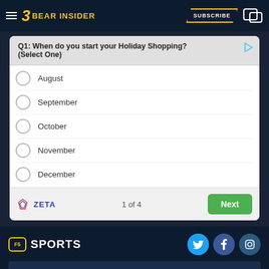BEAR INSIDER — SUBSCRIBE
Q1: When do you start your Holiday Shopping? (Select One)
August
September
October
November
December
ZETA — 1 of 4 — Next
F5 SPORTS
Desktop Version
Bear Insider is an independent site and is not affiliated with University of California. ©2022 CalSportsMedia LLC. All rights reserved.